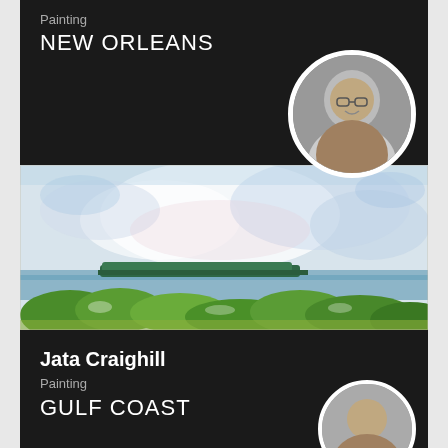Painting
NEW ORLEANS
[Figure (photo): Round portrait photo of a smiling man with glasses, black and white, in a circular frame]
[Figure (illustration): Watercolor painting of a coastal landscape with green foliage in the foreground, water and distant tree line in the middle, and a large cloudy sky]
Jata Craighill
Painting
GULF COAST
[Figure (photo): Partial circular portrait photo at bottom right, partially cut off]